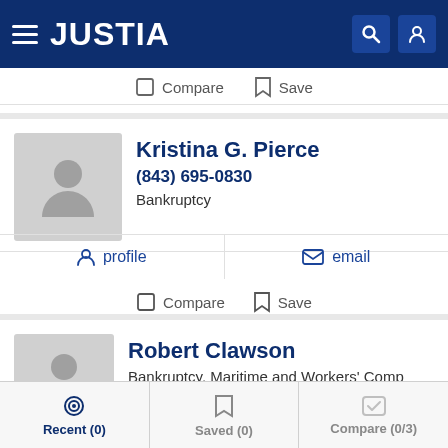JUSTIA
Compare   Save
Kristina G. Pierce
(843) 695-0830
Bankruptcy
profile   email
Compare   Save
Robert Clawson
Bankruptcy, Maritime and Workers' Comp
profile
Recent (0)   Saved (0)   Compare (0/3)